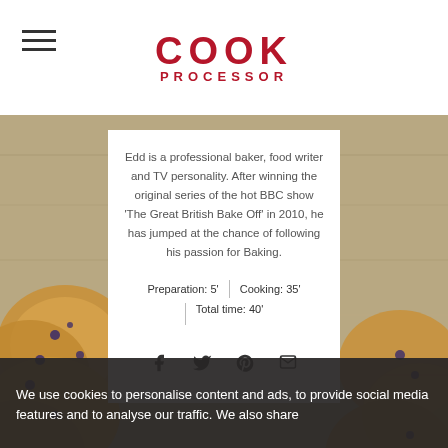COOK PROCESSOR
[Figure (photo): Background photo of baked cookies/muffins with blueberries on a wooden surface]
Edd is a professional baker, food writer and TV personality. After winning the original series of the hot BBC show ‘The Great British Bake Off’ in 2010, he has jumped at the chance of following his passion for Baking.
Preparation: 5’   Cooking: 35’   Total time: 40’
We use cookies to personalise content and ads, to provide social media features and to analyse our traffic. We also share